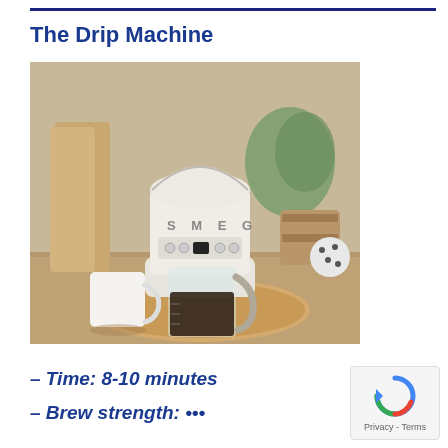The Drip Machine
[Figure (photo): A white SMEG drip coffee machine sitting on a wooden board on a kitchen counter, with a glass carafe filled with coffee, a white ceramic mug beside it, and decorative items in the background.]
– Time: 8-10 minutes
– Brew strength: •••